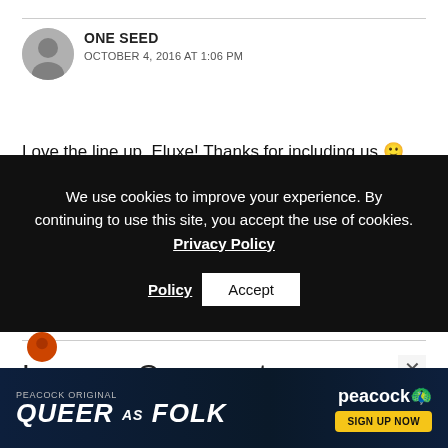ONE SEED
OCTOBER 4, 2016 AT 1:06 PM
Love the line up, Eluxe! Thanks for including us 🙂
We use cookies to improve your experience. By continuing to use this site, you accept the use of cookies. Privacy Policy  Accept
Reply
Leave a Comment
[Figure (infographic): Peacock ORIGINAL advertisement banner: QUEER AS FOLK, SIGN UP NOW]